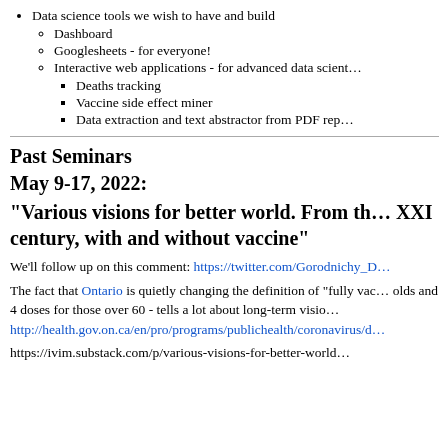Data science tools we wish to have and build
Dashboard
Googlesheets - for everyone!
Interactive web applications - for advanced data scientists
Deaths tracking
Vaccine side effect miner
Data extraction and text abstractor from PDF reports
Past Seminars
May 9-17, 2022:
"Various visions for better world. From the XXI century, with and without vaccine"
We'll follow up on this comment: https://twitter.com/Gorodnichy_D
The fact that Ontario is quietly changing the definition of "fully vaccinated" to 3 doses for 18-59 olds and 4 doses for those over 60 - tells a lot about long-term vision http://health.gov.on.ca/en/pro/programs/publichealth/coronavirus/d
https://ivim.substack.com/p/various-visions-for-better-world